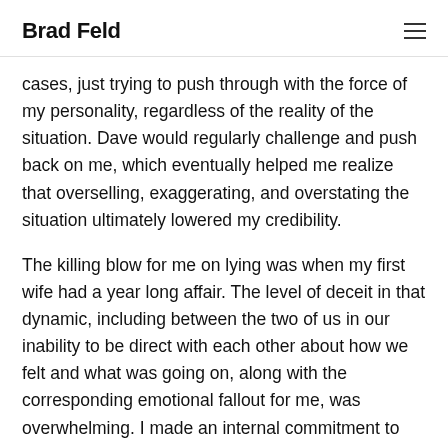Brad Feld
cases, just trying to push through with the force of my personality, regardless of the reality of the situation. Dave would regularly challenge and push back on me, which eventually helped me realize that overselling, exaggerating, and overstating the situation ultimately lowered my credibility.
The killing blow for me on lying was when my first wife had a year long affair. The level of deceit in that dynamic, including between the two of us in our inability to be direct with each other about how we felt and what was going on, along with the corresponding emotional fallout for me, was overwhelming. I made an internal commitment to